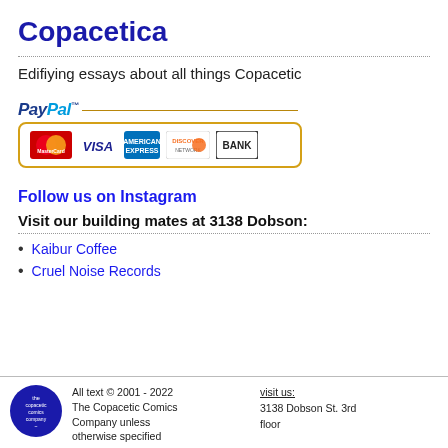Copacetica
Edifiying essays about all things Copacetic
[Figure (logo): PayPal payment logo with credit card icons: MasterCard, VISA, American Express, Discover, BANK]
Follow us on Instagram
Visit our building mates at 3138 Dobson:
Kaibur Coffee
Cruel Noise Records
All text © 2001 - 2022 The Copacetic Comics Company unless otherwise specified   visit us: 3138 Dobson St. 3rd floor